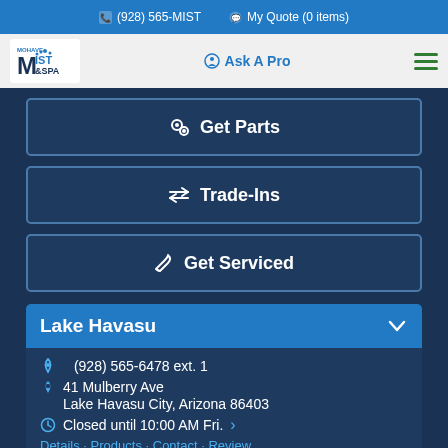(928) 565-MIST  My Quote (0 items)
[Figure (logo): Mohave Mist & Spa logo with stylized M and droplet icon]
Ask A Pro
Get Parts
Trade-Ins
Get Serviced
Lake Havasu
(928) 565-6478 ext. 1
41 Mulberry Ave
Lake Havasu City, Arizona 86403
Closed until 10:00 AM Fri.
Details · Products · Contact · Review